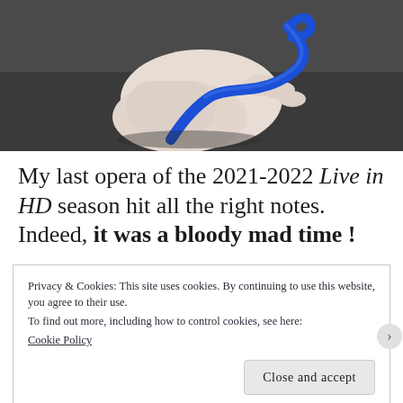[Figure (photo): Close-up photo of a hand/wrist with a blue stethoscope or medical tubing wrapped around it, against a dark background]
My last opera of the 2021-2022 Live in HD season hit all the right notes. Indeed, it was a bloody mad time !
Privacy & Cookies: This site uses cookies. By continuing to use this website, you agree to their use.
To find out more, including how to control cookies, see here:
Cookie Policy
Close and accept